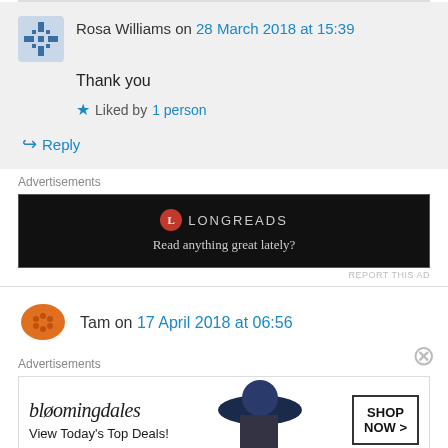Rosa Williams on 28 March 2018 at 15:39
Thank you
Liked by 1 person
Reply
[Figure (other): Longreads advertisement: Read anything great lately?]
REPORT THIS AD
Tam on 17 April 2018 at 06:56
[Figure (other): Bloomingdales advertisement: View Today's Top Deals! Shop Now >]
REPORT THIS AD